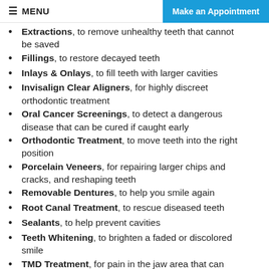≡ MENU | Make an Appointment
Extractions, to remove unhealthy teeth that cannot be saved
Fillings, to restore decayed teeth
Inlays & Onlays, to fill teeth with larger cavities
Invisalign Clear Aligners, for highly discreet orthodontic treatment
Oral Cancer Screenings, to detect a dangerous disease that can be cured if caught early
Orthodontic Treatment, to move teeth into the right position
Porcelain Veneers, for repairing larger chips and cracks, and reshaping teeth
Removable Dentures, to help you smile again
Root Canal Treatment, to rescue diseased teeth
Sealants, to help prevent cavities
Teeth Whitening, to brighten a faded or discolored smile
TMD Treatment, for pain in the jaw area that can interfere with biting and chewing